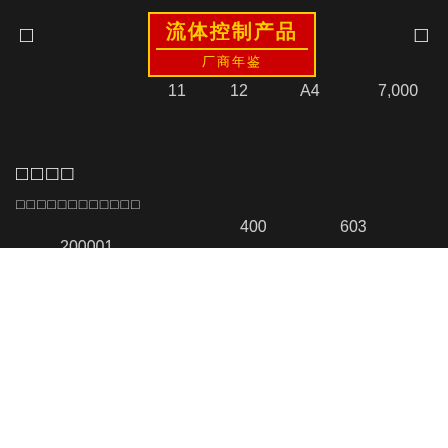[Figure (logo): Red box logo with Chinese text: 流体控制产品 / 厂商年鉴 (Fluid Control Products / Manufacturer Yearbook) in yellow text on red background with yellow border]
11  12  A4  7,000
□□□□
□□□□□□□□□□□□
400  603
200001
We use cookies on our website to give you the most relevant experience by remembering your preferences and repeat visits. By clicking "Accept All", you consent to the use of ALL the cookies. However, you may visit "Cookie Settings" to provide a controlled consent.